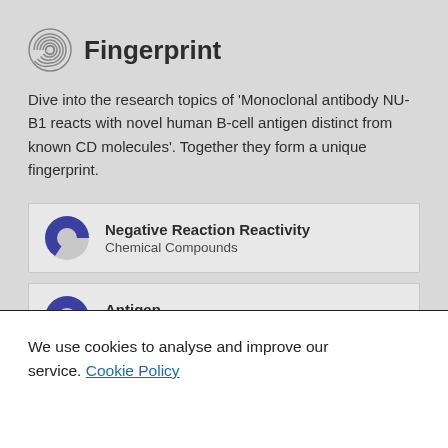Fingerprint
Dive into the research topics of 'Monoclonal antibody NU-B1 reacts with novel human B-cell antigen distinct from known CD molecules'. Together they form a unique fingerprint.
Negative Reaction Reactivity
Chemical Compounds
Antigen
Chemical Compounds
We use cookies to analyse and improve our service. Cookie Policy